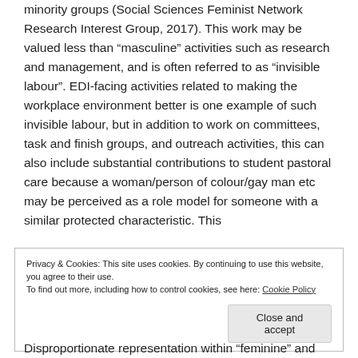minority groups (Social Sciences Feminist Network Research Interest Group, 2017). This work may be valued less than “masculine” activities such as research and management, and is often referred to as “invisible labour”. EDI-facing activities related to making the workplace environment better is one example of such invisible labour, but in addition to work on committees, task and finish groups, and outreach activities, this can also include substantial contributions to student pastoral care because a woman/person of colour/gay man etc may be perceived as a role model for someone with a similar protected characteristic. This
Privacy & Cookies: This site uses cookies. By continuing to use this website, you agree to their use.
To find out more, including how to control cookies, see here: Cookie Policy
Close and accept
Disproportionate representation within “feminine” and